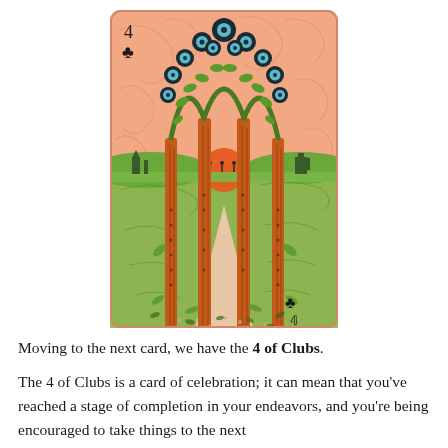[Figure (illustration): A tarot-style playing card — the 4 of Clubs. The card has a peach/salmon pink background with swirling decorative patterns. Four tall orange-brown wooden poles/wands stand upright, their tops arching outward with green leafy branches adorned with large dark blue and teal circular flower-like blooms. In the background, a green landscape with rolling hills and a setting orange sun is visible. Small silhouetted figures and buildings appear on the horizon. The bottom foreground has scattered leaves and pebbles. The club suit symbol (♣) appears in the top-left and bottom-right corners of the card, along with the numeral 4.]
Moving to the next card, we have the 4 of Clubs.
The 4 of Clubs is a card of celebration; it can mean that you've reached a stage of completion in your endeavors, and you're being encouraged to take things to the next